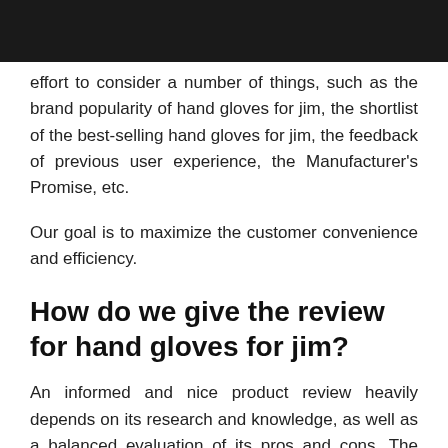Navigation bar with home, menu, search, and shuffle icons
effort to consider a number of things, such as the brand popularity of hand gloves for jim, the shortlist of the best-selling hand gloves for jim, the feedback of previous user experience, the Manufacturer's Promise, etc.
Our goal is to maximize the customer convenience and efficiency.
How do we give the review for hand gloves for jim?
An informed and nice product review heavily depends on its research and knowledge, as well as a balanced evaluation of its pros and cons. The following is how we make the hand gloves for jim review:
1. Understanding the hand gloves for jim...